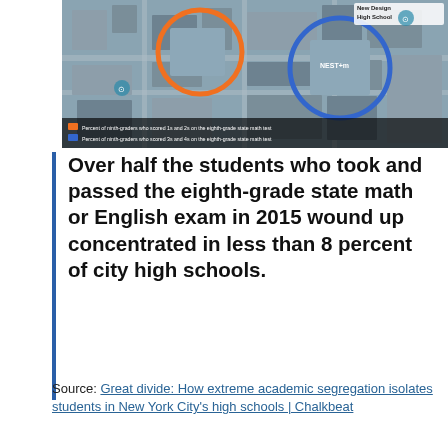[Figure (map): Aerial satellite map showing two school locations in New York City. An orange circle marks 'New Design High School' and a blue circle marks 'NEST+m'. A legend at the bottom shows: orange = Percent of ninth-graders who scored 1s and 2s on the eighth-grade state math test; blue = Percent of ninth-graders who scored 3s and 4s on the eighth-grade state math test.]
Over half the students who took and passed the eighth-grade state math or English exam in 2015 wound up concentrated in less than 8 percent of city high schools.
Source: Great divide: How extreme academic segregation isolates students in New York City's high schools | Chalkbeat